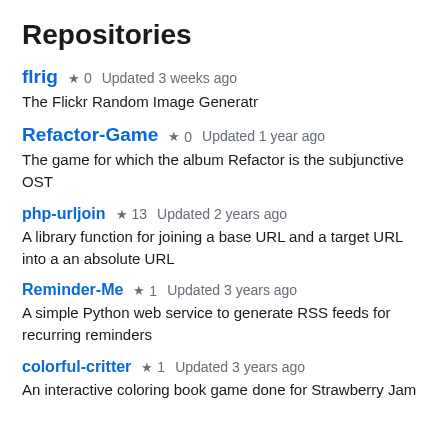Repositories
flrig  ★ 0  Updated 3 weeks ago
The Flickr Random Image Generatr
Refactor-Game  ★ 0  Updated 1 year ago
The game for which the album Refactor is the subjunctive OST
php-urljoin  ★ 13  Updated 2 years ago
A library function for joining a base URL and a target URL into a an absolute URL
Reminder-Me  ★ 1  Updated 3 years ago
A simple Python web service to generate RSS feeds for recurring reminders
colorful-critter  ★ 1  Updated 3 years ago
An interactive coloring book game done for Strawberry Jam